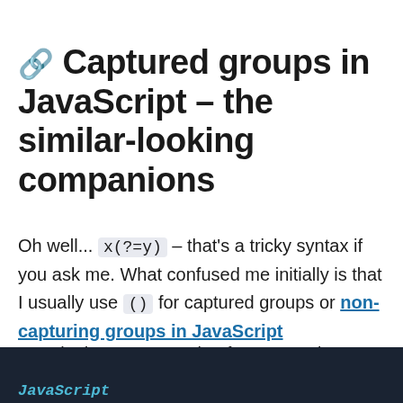🔗 Captured groups in JavaScript – the similar-looking companions
Oh well... x(?=y) – that's a tricky syntax if you ask me. What confused me initially is that I usually use () for captured groups or non-capturing groups in JavaScript expressions.
Let's look at an example of a captured group:
[Figure (screenshot): Dark code editor block with 'JavaScript' label in teal/cyan color at the bottom right]